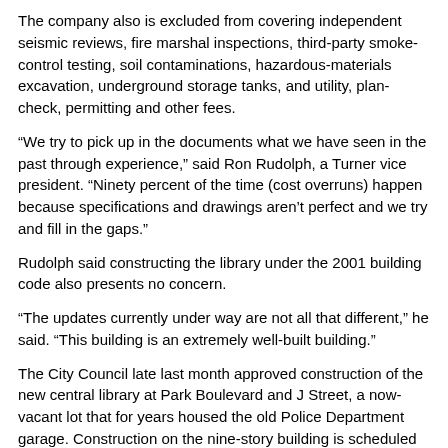The company also is excluded from covering independent seismic reviews, fire marshal inspections, third-party smoke-control testing, soil contaminations, hazardous-materials excavation, underground storage tanks, and utility, plan-check, permitting and other fees.
“We try to pick up in the documents what we have seen in the past through experience,” said Ron Rudolph, a Turner vice president. “Ninety percent of the time (cost overruns) happen because specifications and drawings aren’t perfect and we try and fill in the gaps.”
Rudolph said constructing the library under the 2001 building code also presents no concern.
“The updates currently under way are not all that different,” he said. “This building is an extremely well-built building.”
The City Council late last month approved construction of the new central library at Park Boulevard and J Street, a now-vacant lot that for years housed the old Police Department garage. Construction on the nine-story building is scheduled to start this month.
The library was approved 6-2, with council members Carl DeMaio and Sherri Lightner opposed. Neither would discuss the potential cost overruns, but Lightner said in a statement, “I remain concerned that the council voted to approve the library before all funding had been identified.”
The council decision capped a 35-year effort to develop a new central library for San Diego. Darren Greenhalgh, the city engineer.